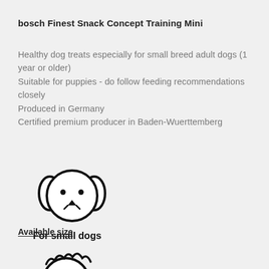bosch Finest Snack Concept Training Mini
Healthy dog treats especially for small breed adult dogs (1 year or older)
Suitable for puppies - do follow feeding recommendations closely
Produced in Germany
Certified premium producer in Baden-Wuerttemberg
[Figure (illustration): Simple line-art icon of a small dog face (puppy/small breed) with round head, floppy ears, dots for eyes, and a small nose/mouth]
For small dogs
Available size
[Figure (illustration): Partial line-art icon of a curly-haired dog (partially visible at bottom of page)]